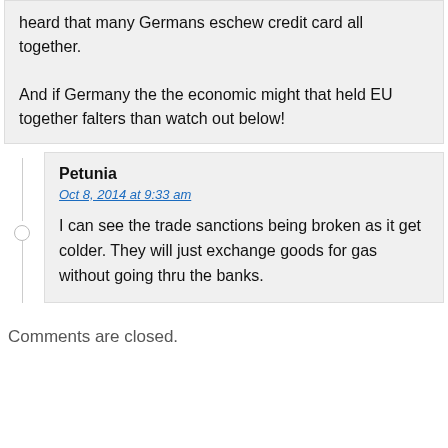heard that many Germans eschew credit card all together.

And if Germany the the economic might that held EU together falters than watch out below!
Petunia
Oct 8, 2014 at 9:33 am
I can see the trade sanctions being broken as it get colder. They will just exchange goods for gas without going thru the banks.
Comments are closed.